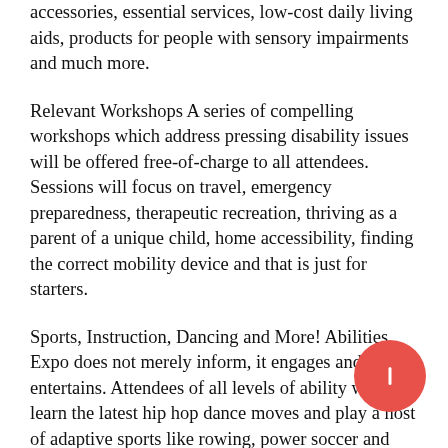accessories, essential services, low-cost daily living aids, products for people with sensory impairments and much more.
Relevant Workshops A series of compelling workshops which address pressing disability issues will be offered free-of-charge to all attendees. Sessions will focus on travel, emergency preparedness, therapeutic recreation, thriving as a parent of a unique child, home accessibility, finding the correct mobility device and that is just for starters.
Sports, Instruction, Dancing and More! Abilities Expo does not merely inform, it engages and it entertains. Attendees of all levels of ability will learn the latest hip hop dance moves and play a host of adaptive sports like rowing, power soccer and more.
And the kids will love the face painting! Meet the Animals Animals have become an intrinsic part of the community of people with disabilities. Some are